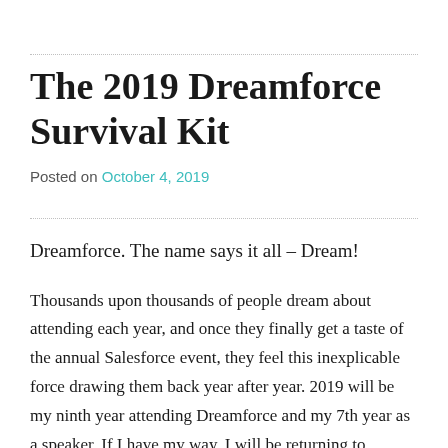The 2019 Dreamforce Survival Kit
Posted on October 4, 2019
Dreamforce. The name says it all – Dream!
Thousands upon thousands of people dream about attending each year, and once they finally get a taste of the annual Salesforce event, they feel this inexplicable force drawing them back year after year. 2019 will be my ninth year attending Dreamforce and my 7th year as a speaker. If I have my way, I will be returning to Dreamforce every year, year after year, just like the Monarch Butterfly's